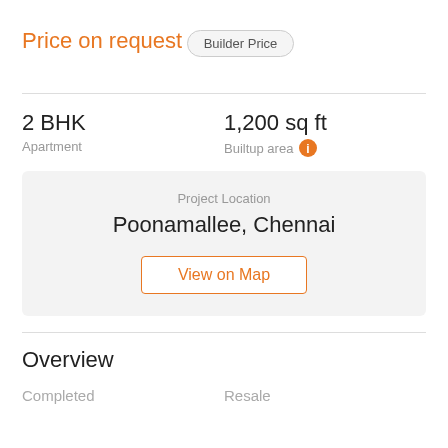Price on request
Builder Price
2 BHK
Apartment
1,200 sq ft
Builtup area
Project Location
Poonamallee, Chennai
View on Map
Overview
Completed
Resale